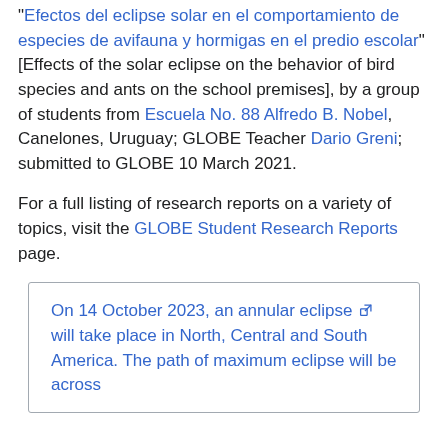“Efectos del eclipse solar en el comportamiento de especies de avifauna y hormigas en el predio escolar” [Effects of the solar eclipse on the behavior of bird species and ants on the school premises], by a group of students from Escuela No. 88 Alfredo B. Nobel, Canelones, Uruguay; GLOBE Teacher Dario Greni; submitted to GLOBE 10 March 2021.
For a full listing of research reports on a variety of topics, visit the GLOBE Student Research Reports page.
On 14 October 2023, an annular eclipse will take place in North, Central and South America. The path of maximum eclipse will be across